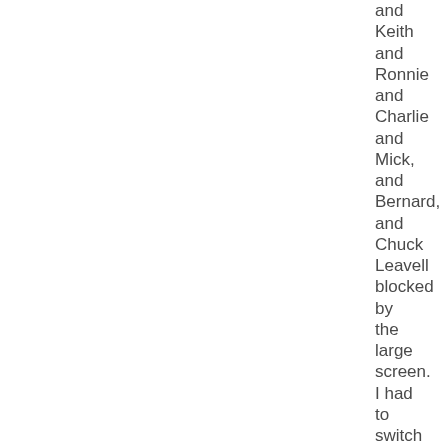and Keith and Ronnie and Charlie and Mick, and Bernard, and Chuck Leavell blocked by the large screen. I had to switch places with the SO to